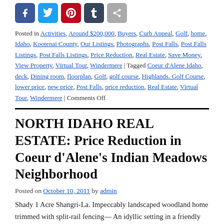[Figure (other): Social sharing icon buttons: Facebook, Twitter, Pinterest, Tumblr, Share]
Posted in Activities, Around $200,000, Buyers, Curb Appeal, Golf, home, Idaho, Kootenai County, Our Listings, Photographs, Post Falls, Post Falls Listings, Post Falls Listings, Price Reduction, Real Estate, Save Money, View Property, Virtual Tour, Windermere | Tagged Coeur d'Alene Idaho, deck, Dining room, floorplan, Golf, golf course, Highlands. Golf Course, lower price, new price, Post Falls, price reduction, Real Estate, Virtual Tour, Windermere | Comments Off
NORTH IDAHO REAL ESTATE: Price Reduction in Coeur d'Alene's Indian Meadows Neighborhood
Posted on October 10, 2011 by admin
Shady 1 Acre Shangri-La. Impeccably landscaped woodland home trimmed with split-rail fencing— An idyllic setting in a friendly neighborhood. This home has a very open 1952sq ft of living space. California-split floorplan accommodates 3 generous upstairs bedrooms, plus one bedroom … Continue